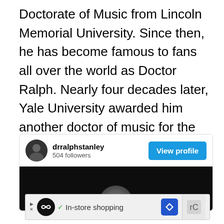Doctorate of Music from Lincoln Memorial University. Since then, he has become famous to fans all over the world as Doctor Ralph. Nearly four decades later, Yale University awarded him another doctor of music for the influence he had on generations of singers.
[Figure (screenshot): Instagram profile widget for drralphstanley showing 504 followers, a View profile button, and a dark profile photo area]
[Figure (screenshot): Advertisement bar showing play/stop icons, a circular logo, a checkmark, In-store shopping text, a blue diamond navigation icon, and a reCAPTCHA logo]